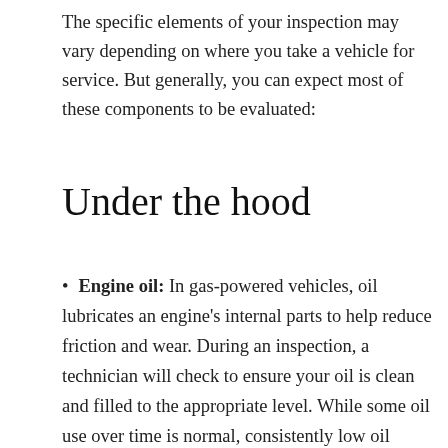The specific elements of your inspection may vary depending on where you take a vehicle for service. But generally, you can expect most of these components to be evaluated:
Under the hood
Engine oil: In gas-powered vehicles, oil lubricates an engine's internal parts to help reduce friction and wear. During an inspection, a technician will check to ensure your oil is clean and filled to the appropriate level. While some oil use over time is normal, consistently low oil levels can be a sign of a leak. And dirty oil should be changed to maximize engine protection and